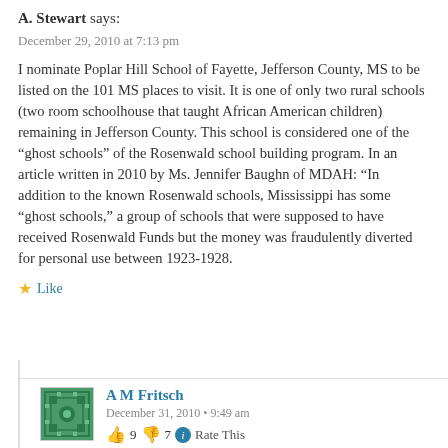A. Stewart says:
December 29, 2010 at 7:13 pm
I nominate Poplar Hill School of Fayette, Jefferson County, MS to be listed on the 101 MS places to visit. It is one of only two rural schools (two room schoolhouse that taught African American children) remaining in Jefferson County. This school is considered one of the “ghost schools” of the Rosenwald school building program. In an article written in 2010 by Ms. Jennifer Baughn of MDAH: “In addition to the known Rosenwald schools, Mississippi has some “ghost schools,” a group of schools that were supposed to have received Rosenwald Funds but the money was fraudulently diverted for personal use between 1923-1928.
★ Like
A M Fritsch
December 31, 2010 • 9:49 am
9  7  Rate This